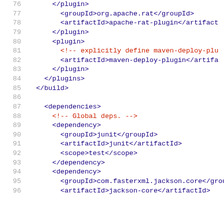76  </plugin>
77    <groupId>org.apache.rat</groupId>
78    <artifactId>apache-rat-plugin</artifactId>
79  </plugin>
80  <plugin>
81    <!-- explicitly define maven-deploy-plug
82    <artifactId>maven-deploy-plugin</artifac
83  </plugin>
84  </plugins>
85  </build>
86
87  <dependencies>
88    <!-- Global deps. -->
89    <dependency>
90      <groupId>junit</groupId>
91      <artifactId>junit</artifactId>
92      <scope>test</scope>
93    </dependency>
94    <dependency>
95      <groupId>com.fasterxml.jackson.core</groupId>
96      <artifactId>jackson-core</artifactId>